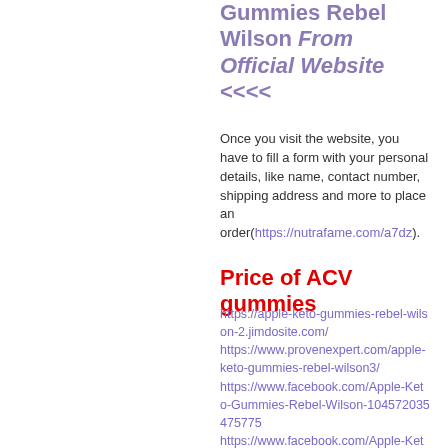Gummies Rebel Wilson From Official Website <<<<
Once you visit the website, you have to fill a form with your personal details, like name, contact number, shipping address and more to place an order(https://nutrafame.com/a7dz).
Price of ACV gummies
https://apple-keto-gummies-rebel-wilson-2.jimdosite.com/ https://www.provenexpert.com/apple-keto-gummies-rebel-wilson3/ https://www.facebook.com/Apple-Keto-Gummies-Rebel-Wilson-104572035475775 https://www.facebook.com/Apple-Keto-Gummies-Rebel-Wilson-Reviews-105450465386960 https://appleketogummiesrebelwilson11.clubeo.com/news/2022/01/30/apple-keto-